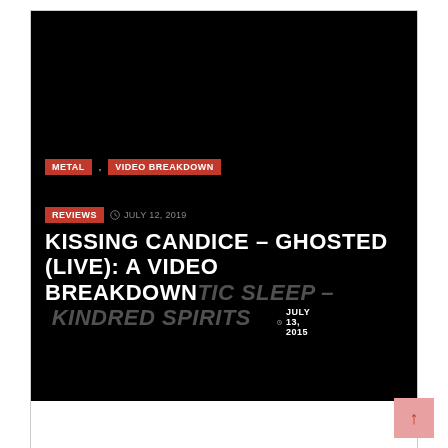[Figure (screenshot): A website card/preview with black background showing a music blog post. Tags 'METAL' and 'VIDEO BREAKDOWN' in red, date 'JULY 13, 2015', and title 'KISSING CANDICE – GHOSTED (LIVE): A VIDEO BREAKDOWN' overlapping with ghosted italic text 'TIC SLEEP – KINDRED SPIRITS'. A 'REVIEWS' tag and date 'JULY 12, 2019' also visible.]
↑ (back to top button)